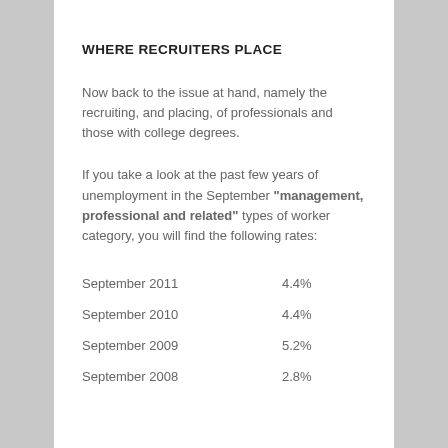WHERE RECRUITERS PLACE
Now back to the issue at hand, namely the recruiting, and placing, of professionals and those with college degrees.
If you take a look at the past few years of unemployment in the September “management, professional and related” types of worker category, you will find the following rates:
| Period | Rate |
| --- | --- |
| September 2011 | 4.4% |
| September 2010 | 4.4% |
| September 2009 | 5.2% |
| September 2008 | 2.8% |